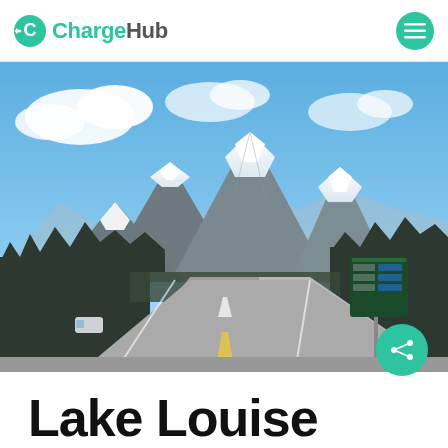ChargeHub
[Figure (photo): Highway road leading toward snow-capped Rocky Mountains under blue sky with scattered clouds. Green conifer forest on both sides of the road. A green directional sign for Lake Louise visible on the right side. Cars on the road.]
Lake Louise